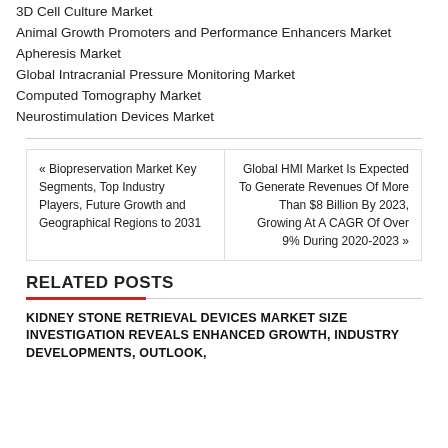3D Cell Culture Market
Animal Growth Promoters and Performance Enhancers Market
Apheresis Market
Global Intracranial Pressure Monitoring Market
Computed Tomography Market
Neurostimulation Devices Market
« Biopreservation Market Key Segments, Top Industry Players, Future Growth and Geographical Regions to 2031
Global HMI Market Is Expected To Generate Revenues Of More Than $8 Billion By 2023, Growing At A CAGR Of Over 9% During 2020-2023 »
RELATED POSTS
KIDNEY STONE RETRIEVAL DEVICES MARKET SIZE INVESTIGATION REVEALS ENHANCED GROWTH, INDUSTRY DEVELOPMENTS, OUTLOOK,